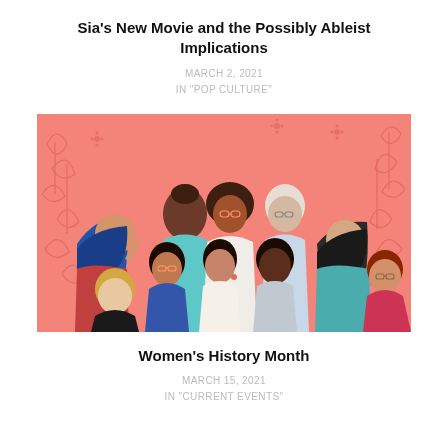Sia's New Movie and the Possibly Ableist Implications
MARCH 2, 2021
IN "POP CULTURE"
[Figure (illustration): Colorful illustration of a diverse group of women of different ethnicities, ages, and backgrounds on a pink floral background for Women's History Month]
Women's History Month
MARCH 15, 2021
IN "CURRENT EVENTS"